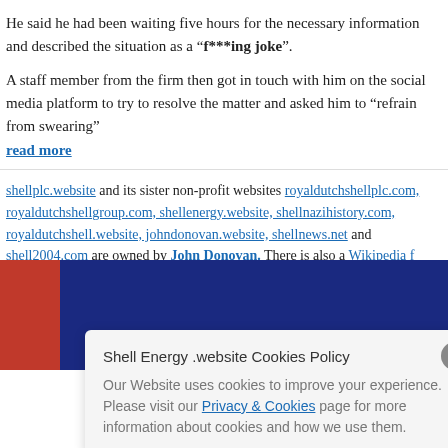He said he had been waiting five hours for the necessary information and described the situation as a “f***ing joke”.
A staff member from the firm then got in touch with him on the social media platform to try to resolve the matter and asked him to “refrain from swearing”
read more
shellplc.website and its sister non-profit websites royaldutchshellplc.com, royaldutchshellgroup.com, shellenergy.website, shellnazihistory.com, royaldutchshell.website, johndonovan.website, shellnews.net and shell2004.com are owned by John Donovan. There is also a Wikipedia f
Shell Energy driving many customers to illness and despair?
Jan 20th, 2020 by John Donovan. Comments are off for this post
[Figure (screenshot): Cookie consent overlay with Shell Energy .website Cookies Policy text, close button, and Privacy & Cookies link]